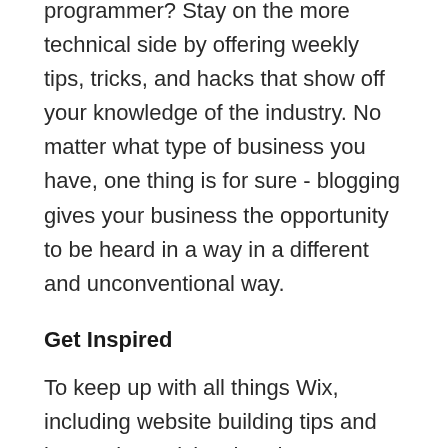programmer? Stay on the more technical side by offering weekly tips, tricks, and hacks that show off your knowledge of the industry. No matter what type of business you have, one thing is for sure - blogging gives your business the opportunity to be heard in a way in a different and unconventional way.
Get Inspired
To keep up with all things Wix, including website building tips and interesting articles, head over to to the Wix Blog. You may even find yourself inspired to start crafting your own blog, adding unique content, and stunning images and videos. Start creating your